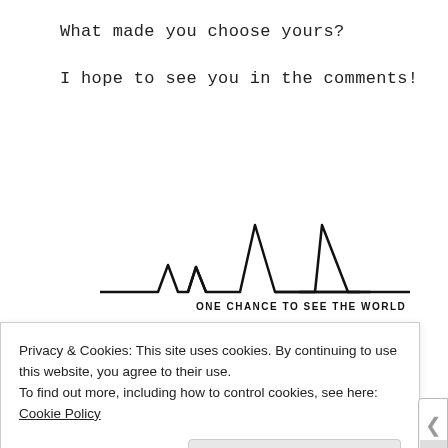What made you choose yours?
I hope to see you in the comments!
[Figure (logo): One Chance To See The World logo with EKG/heartbeat line graphic and stylized bird/shark fin silhouette. Text reads: ONE CHANCE TO SEE THE WORLD]
Privacy & Cookies: This site uses cookies. By continuing to use this website, you agree to their use.
To find out more, including how to control cookies, see here: Cookie Policy
Close and accept